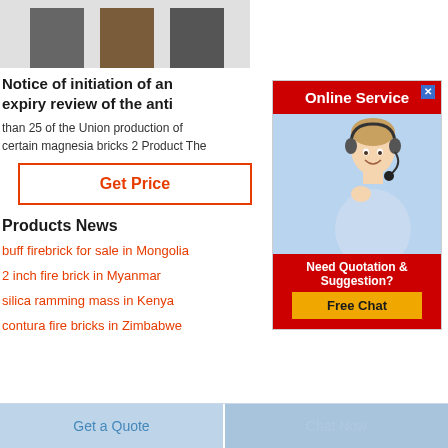[Figure (photo): Product image showing three dark brick/magnesia samples against light background]
Notice of initiation of an expiry review of the anti
than 25 of the Union production of certain magnesia bricks 2 Product The
Get Price
Products News
buff firebrick for sale in Mongolia
2 inch fire brick in Myanmar
silica ramming mass in Kenya
contura fire bricks in Zimbabwe
[Figure (screenshot): Online Service widget with red header, customer service photo, Need Quotation & Suggestion text, and Free Chat button]
Get a Quote
Chat Now